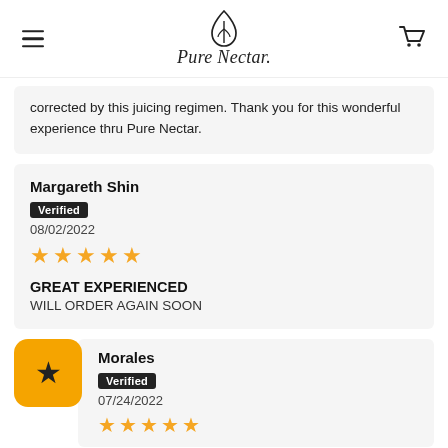Pure Nectar
corrected by this juicing regimen. Thank you for this wonderful experience thru Pure Nectar.
Margareth Shin
Verified
08/02/2022
★★★★★
GREAT EXPERIENCED
WILL ORDER AGAIN SOON
Morales
Verified
07/24/2022